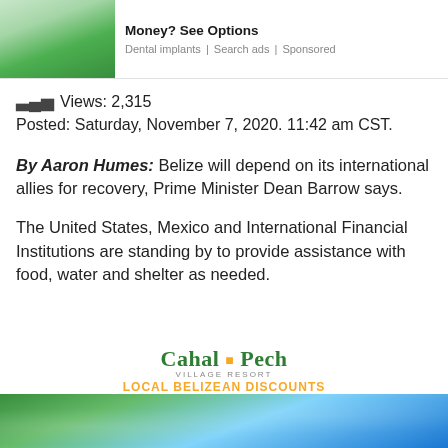[Figure (photo): Sponsored ad banner showing a woman smiling at a dental clinic with text 'Money? See Options', subtext 'Dental implants | Search ads | Sponsored']
Views: 2,315
Posted: Saturday, November 7, 2020. 11:42 am CST.
By Aaron Humes: Belize will depend on its international allies for recovery, Prime Minister Dean Barrow says.
The United States, Mexico and International Financial Institutions are standing by to provide assistance with food, water and shelter as needed.
[Figure (photo): Cahal Pech Village Resort advertisement with logo and text 'LOCAL BELIZEAN DISCOUNTS' above an aerial photo of the resort]